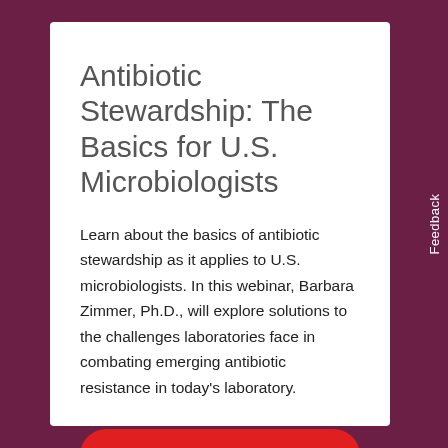Antibiotic Stewardship: The Basics for U.S. Microbiologists
Learn about the basics of antibiotic stewardship as it applies to U.S. microbiologists. In this webinar, Barbara Zimmer, Ph.D., will explore solutions to the challenges laboratories face in combating emerging antibiotic resistance in today’s laboratory.
View on demand
Feedback